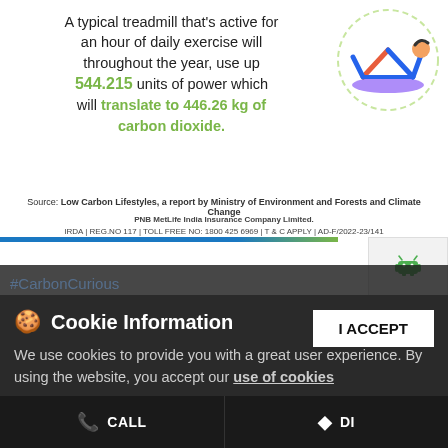A typical treadmill that’s active for an hour of daily exercise will throughout the year, use up 544.215 units of power which will translate to 446.26 kg of carbon dioxide.
[Figure (illustration): Illustration of a person doing yoga (downward dog pose) on a purple mat, inside a dashed circle outline]
Source: Low Carbon Lifestyles, a report by Ministry of Environment and Forests and Climate Change
PNB MetLife India Insurance Company Limited. IRDA | REG.NO 117 | TOLL FREE NO: 1800 425 6969 | T & C APPLY | AD-F/2022-23/141
Your one hour of exercise on a treadmill has consequences for the planet. Be #CarbonCurious and opt for traditional methods of workouts like yoga. Disclaimer: https://www.pnbmetlife.com/tnc.html #PNBMetLife #MilkarLifeAageBadhaein #Insurance #KaroBadeSapnoKiTayyari #LifeInsurance #GlobalWarming #StepsToPreserve #GreenEnvironment #GlowGreen
Cookie Information
We use cookies to provide you with a great user experience. By using the website, you accept our use of cookies
I ACCEPT